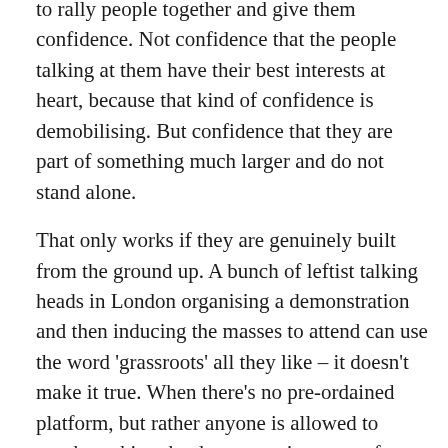to rally people together and give them confidence. Not confidence that the people talking at them have their best interests at heart, because that kind of confidence is demobilising. But confidence that they are part of something much larger and do not stand alone.

That only works if they are genuinely built from the ground up. A bunch of leftist talking heads in London organising a demonstration and then inducing the masses to attend can use the word 'grassroots' all they like – it doesn't make it true. When there's no pre-ordained platform, but rather anyone is allowed to speak, making the demonstration a way for people to connect with one another rather than be addressed by grandees, then we can believe them. This was the case with demos organised by the community Bedroom Tax campaign Stand Up In Bootle, to give one example, but